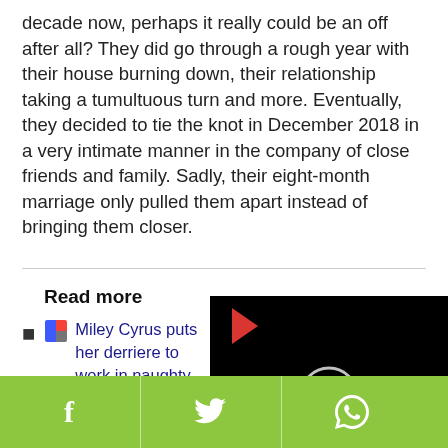decade now, perhaps it really could be an off after all? They did go through a rough year with their house burning down, their relationship taking a tumultuous turn and more. Eventually, they decided to tie the knot in December 2018 in a very intimate manner in the company of close friends and family. Sadly, their eight-month marriage only pulled them apart instead of bringing them closer.
Read more
Miley Cyrus puts her derriere to work in naughty social media post
Miley Cyrus was g... shocking video surfa...
[Figure (screenshot): Black video player overlay with red play button arrow and white loading spinner circle]
f  (Twitter bird icon)  (WhatsApp icon)